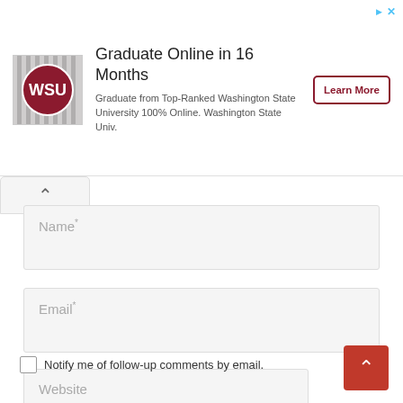[Figure (infographic): Advertisement banner: WSU logo on left, text 'Graduate Online in 16 Months' with description about Washington State University 100% Online, and a 'Learn More' button on the right.]
Name*
Email*
Website
Notify me of follow-up comments by email.